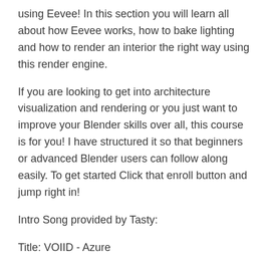using Eevee! In this section you will learn all about how Eevee works, how to bake lighting and how to render an interior the right way using this render engine.
If you are looking to get into architecture visualization and rendering or you just want to improve your Blender skills over all, this course is for you! I have structured it so that beginners or advanced Blender users can follow along easily. To get started Click that enroll button and jump right in!
Intro Song provided by Tasty:
Title: VOIID - Azure
Label Youtube Channel TastyNetwork
You are free to use the models provided in this